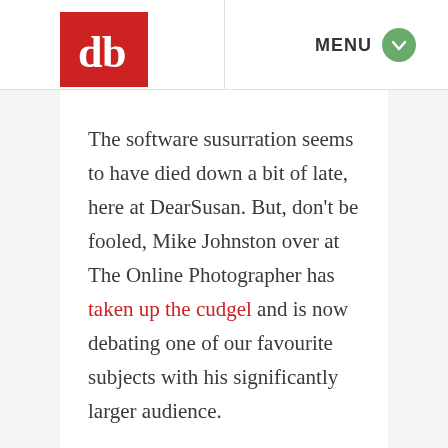[Figure (logo): DearSusan logo — red square with white stylized 'db' letterform]
MENU
The software susurration seems to have died down a bit of late, here at DearSusan. But, don't be fooled, Mike Johnston over at The Online Photographer has taken up the cudgel and is now debating one of our favourite subjects with his significantly larger audience.